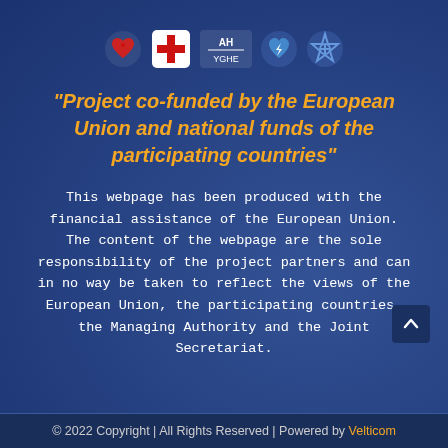[Figure (logo): Five organizational logos/icons in a row: red heart, red cross on white square, AH/YGHE text logo, blue medical cross with lightning, blue star of life symbol]
“Project co-funded by the European Union and national funds of the participating countries”
This webpage has been produced with the financial assistance of the European Union. The content of the webpage are the sole responsibility of the project partners and can in no way be taken to reflect the views of the European Union, the participating countries, the Managing Authority and the Joint Secretariat.
© 2022 Copyright | All Rights Reserved | Powered by Velticom